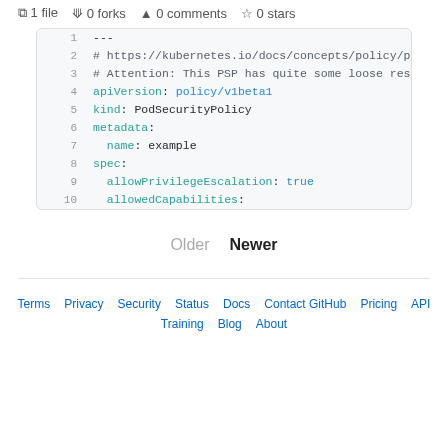1 file  0 forks  0 comments  0 stars
[Figure (screenshot): Code block showing a YAML Kubernetes PodSecurityPolicy configuration file with line numbers 1-10. Lines include: ---, # https://kubernetes.io/docs/concepts/policy/pod-, # Attention: This PSP has quite some loose restri, apiVersion: policy/v1beta1, kind: PodSecurityPolicy, metadata:, name: example, spec:, allowPrivilegeEscalation: true, allowedCapabilities:]
Older  Newer
Terms  Privacy  Security  Status  Docs  Contact GitHub  Pricing  API  Training  Blog  About